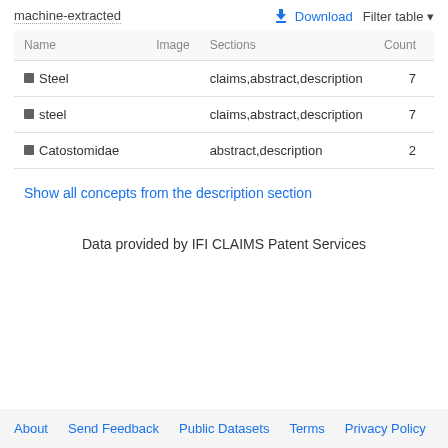machine-extracted
| Name | Image | Sections | Count |
| --- | --- | --- | --- |
| ■ Steel |  | claims,abstract,description | 7 |
| ■ steel |  | claims,abstract,description | 7 |
| ■ Catostomidae |  | abstract,description | 2 |
| Show all concepts from the description section |  |  |  |
Data provided by IFI CLAIMS Patent Services
About   Send Feedback   Public Datasets   Terms   Privacy Policy